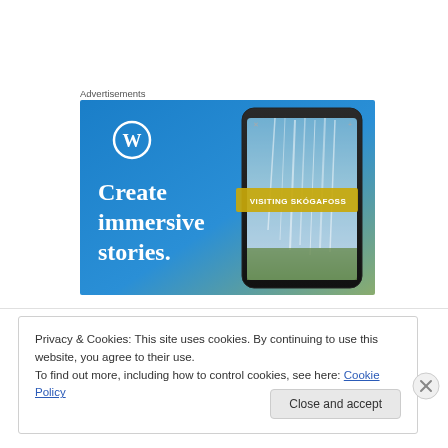Advertisements
[Figure (screenshot): WordPress advertisement banner with blue gradient background, WordPress logo (W in circle), text 'Create immersive stories.' on left, and a smartphone showing a waterfall photo with overlay text 'VISITING SKOGAFOSS' on the right side.]
Privacy & Cookies: This site uses cookies. By continuing to use this website, you agree to their use.
To find out more, including how to control cookies, see here: Cookie Policy
Close and accept